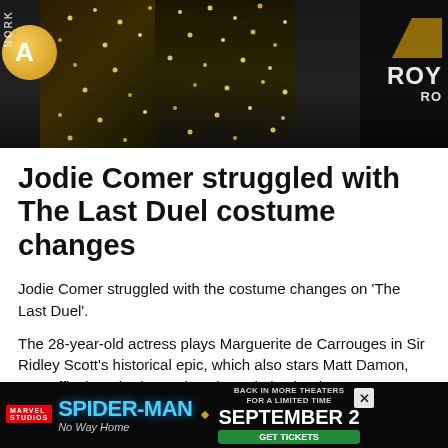[Figure (photo): Photo banner showing a person in a sparkly gold/black outfit at what appears to be a red carpet event. Partial ROY text visible on right side. Gold circular logo visible on left.]
Jodie Comer struggled with The Last Duel costume changes
Jodie Comer struggled with the costume changes on 'The Last Duel'.
The 28-year-old actress plays Marguerite de Carrouges in Sir Ridley Scott's historical epic, which also stars Matt Damon, Ben Affleck and Adam Driver, but admits that it was a nightmare changing in and out of period costume as the flick is set in 14th century France.
Jodie told the Daily Mail newspaper's Eden Confidential column: "When you're filming in a field, and have to go to the bathroom, and you have 17 layers on, it gets a bit tiresome. But all in all, it was
[Figure (other): Spider-Man: No Way Home advertisement banner with Marvel Studios logo, September 2 date and Get Tickets call to action]